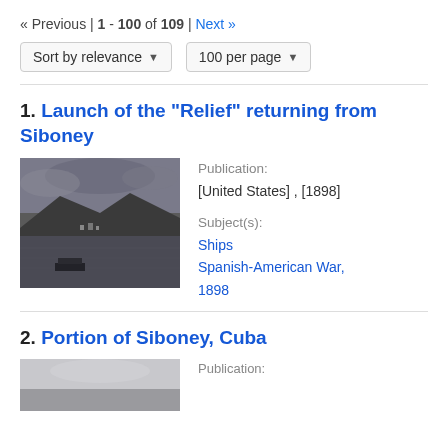« Previous | 1 - 100 of 109 | Next »
Sort by relevance ▾   100 per page ▾
1. Launch of the "Relief" returning from Siboney
[Figure (photo): Black and white photograph showing a boat on water with mountains and cloudy sky in the background, likely near Siboney.]
Publication: [United States] , [1898]
Subject(s): Ships, Spanish-American War, 1898
2. Portion of Siboney, Cuba
Publication: